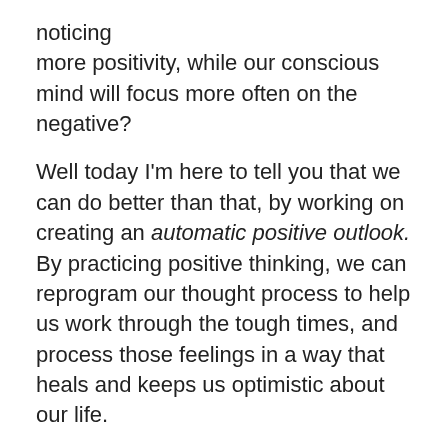noticing
more positivity, while our conscious mind will focus more often on the negative?
Well today I'm here to tell you that we can do better than that, by working on creating an automatic positive outlook. By practicing positive thinking, we can reprogram our thought process to help us work through the tough times, and process those feelings in a way that heals and keeps us optimistic about our life.
I know that sometimes it's easy for us to get caught up in a negative spiral. When the rose-colored glasses come off, we don't want to look on the bright side. However, with some of the tips and techniques in this episode, you can turn that around into a positive spiral and keep after the wonderful life that you deserve.